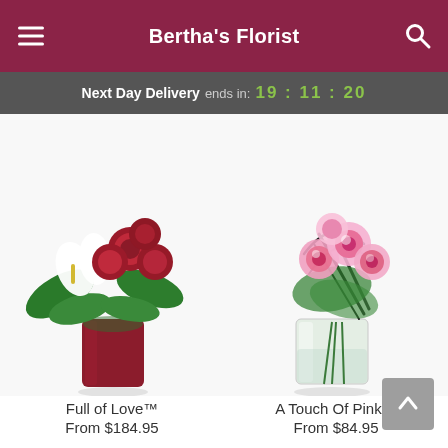Bertha's Florist
Next Day Delivery ends in: 19 : 11 : 20
[Figure (photo): Full of Love flower arrangement: red roses and white calla lilies in a red vase]
Full of Love™
From $184.95
[Figure (photo): A Touch Of Pink flower arrangement: pink and white flowers in a clear glass vase with dark ribbon]
A Touch Of Pink™
From $84.95